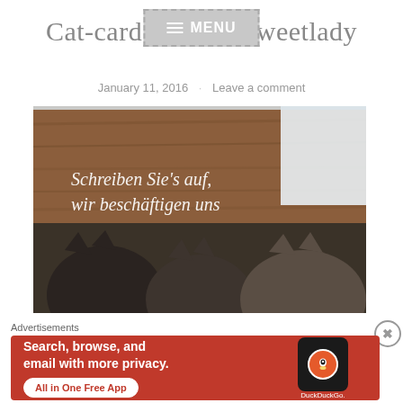Cat-card f… sweetlady
MENU
January 11, 2016 · Leave a comment
[Figure (photo): A greeting card photo showing three cats viewed from behind, with German text overlay reading 'Schreiben Sie's auf, wir beschäftigen uns']
Advertisements
[Figure (screenshot): DuckDuckGo advertisement banner: 'Search, browse, and email with more privacy. All in One Free App' with DuckDuckGo logo on phone mockup]